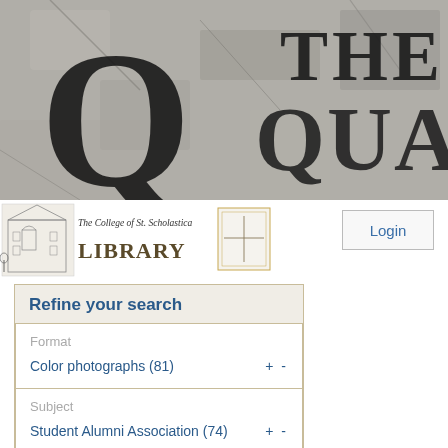[Figure (illustration): Stone/granite texture background with large decorative Q letter and text THE QUARR in serif font — banner header for The Quarry library digital collection]
[Figure (logo): The College of St. Scholastica Library logo with building illustration and coat of arms]
Login
Refine your search
Format
Color photographs (81)
Subject
Student Alumni Association (74)